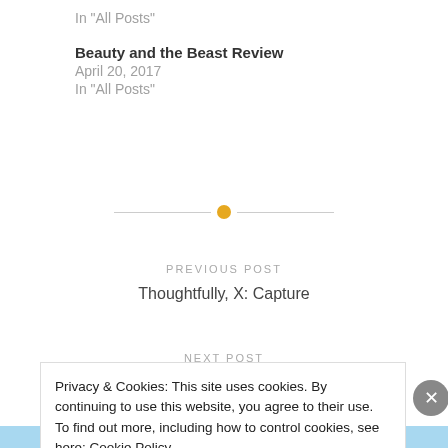In "All Posts"
Beauty and the Beast Review
April 20, 2017
In "All Posts"
PREVIOUS POST
Thoughtfully, X: Capture
NEXT POST
Privacy & Cookies: This site uses cookies. By continuing to use this website, you agree to their use.
To find out more, including how to control cookies, see here: Cookie Policy
Close and accept